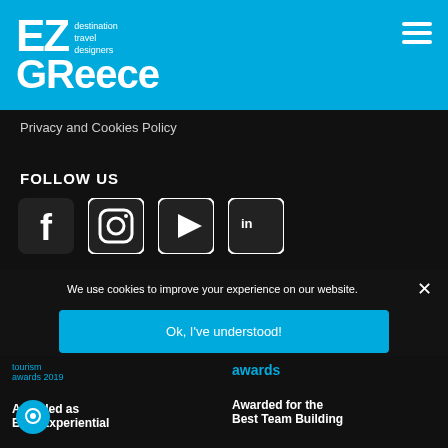[Figure (logo): EZGReece logo with destination travel designers tagline on blue header background]
Privacy and Cookies Policy
FOLLOW US
[Figure (illustration): Social media icons row: Facebook, Instagram, YouTube, LinkedIn]
We use cookies to improve your experience on our website.
Ok, I've understood!
Decline
More Info
Awarded as Best Experiential
Awarded for the Best Team Building